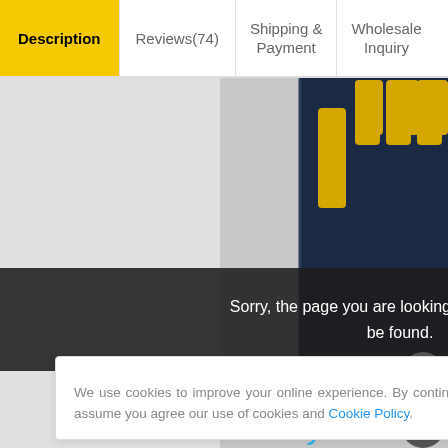Description | Reviews(74) | Shipping & Payment | Wholesale Inquiry
[Figure (photo): Close-up photo of an SD memory card showing gold contacts against a dark blue/black card body, on a light gray background]
Sorry, the page you are looking for could not be found.
We use cookies to improve your online experience. By continuing browsing this website, we assume you agree our use of cookies and Cookie Policy.
Easy to carry